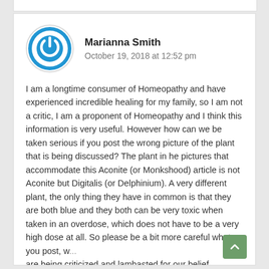[Figure (illustration): Blue circular power button icon used as user avatar for Marianna Smith]
Marianna Smith
October 19, 2018 at 12:52 pm
I am a longtime consumer of Homeopathy and have experienced incredible healing for my family, so I am not a critic, I am a proponent of Homeopathy and I think this information is very useful. However how can we be taken serious if you post the wrong picture of the plant that is being discussed? The plant in he pictures that accommodate this Aconite (or Monkshood) article is not Aconite but Digitalis (or Delphinium). A very different plant, the only thing they have in common is that they are both blue and they both can be very toxic when taken in an overdose, which does not have to be a very high dose at all. So please be a bit more careful what you post, w... are being criticized and lambasted for our belief...